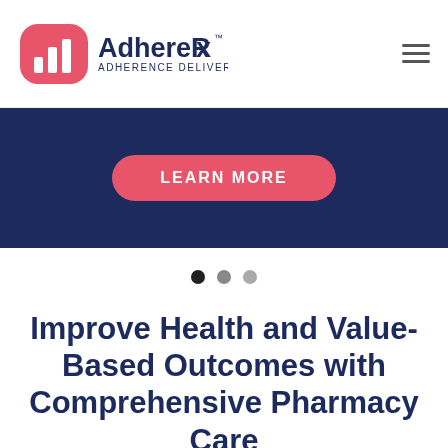[Figure (logo): AdhereRx logo with pink pill icon and dark blue text reading 'AdhereRx ADHERENCE DELIVERED']
[Figure (other): Dark navy blue banner with a pink 'LEARN MORE' button in the center]
[Figure (other): Carousel navigation dots: one dark, one medium grey, one light grey]
Improve Health and Value-Based Outcomes with Comprehensive Pharmacy Care
AdhereRx coordinates medication needs for patients